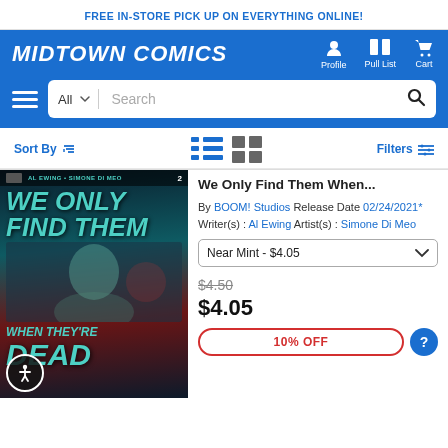FREE IN-STORE PICK UP ON EVERYTHING ONLINE!
[Figure (logo): Midtown Comics logo with navigation icons for Profile, Pull List, and Cart]
[Figure (screenshot): Search bar with All dropdown and Search input]
Sort By  Filters
[Figure (illustration): We Only Find Them When They're Dead #2 comic book cover by Al Ewing and Simone Di Meo, BOOM! Studios]
We Only Find Them When...
By BOOM! Studios  Release Date 02/24/2021*
Writer(s) : Al Ewing  Artist(s) : Simone Di Meo
Near Mint - $4.05
$4.50
$4.05
10% OFF